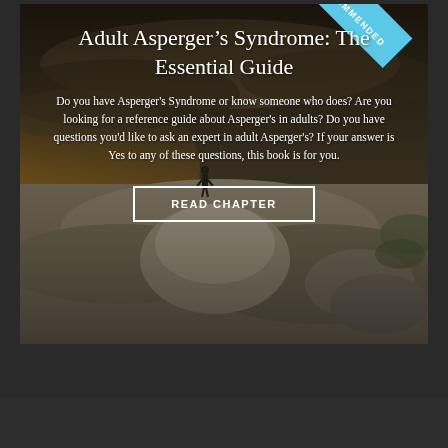[Figure (photo): A dramatic landscape photo showing a person silhouetted standing on a rocky cliff or large boulder at sunset/twilight, with cloudy sky in the background. A 'RECOMMENDED' ribbon badge appears in the top-right corner. The image serves as the background for a book promotion card.]
Adult Asperger's Syndrome: The Essential Guide
Do you have Asperger's Syndrome or know someone who does? Are you looking for a reference guide about Asperger's in adults? Do you have questions you'd like to ask an expert in adult Asperger's? If your answer is Yes to any of these questions, this book is for you.
READ CHAPTER